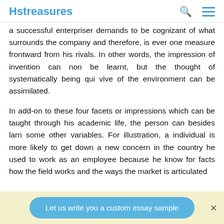Hstreasures
a successful enterpriser demands to be cognizant of what surrounds the company and therefore, is ever one measure frontward from his rivals. In other words, the impression of invention can non be learnt, but the thought of systematically being qui vive of the environment can be assimilated.
In add-on to these four facets or impressions which can be taught through his academic life, the person can besides larn some other variables. For illustration, a individual is more likely to get down a new concern in the country he used to work as an employee because he know for facts how the field works and the ways the market is articulated
Let us write you a custom essay sample